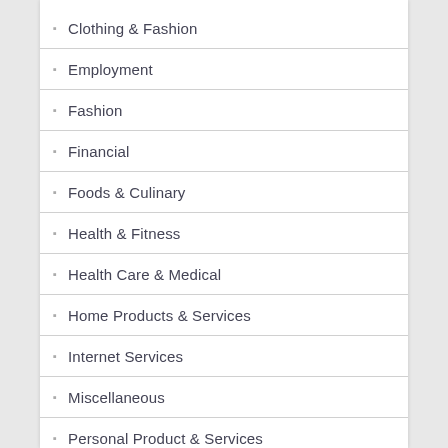Clothing & Fashion
Employment
Fashion
Financial
Foods & Culinary
Health & Fitness
Health Care & Medical
Home Products & Services
Internet Services
Miscellaneous
Personal Product & Services
Pets & Animals
Real Estate
Relationships
Soft…